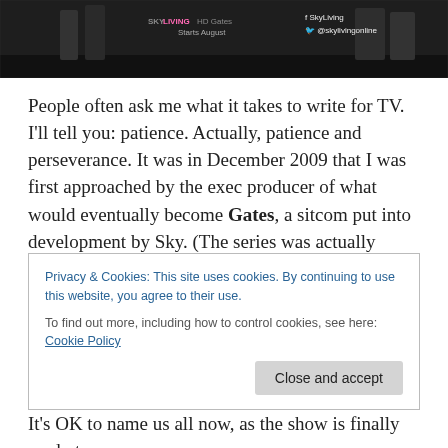[Figure (screenshot): Dark screenshot of Sky Living TV channel promotional image showing 'Gates' series, 'Starts August' text, SkyLiving branding and @skylivingonline social handle]
People often ask me what it takes to write for TV. I'll tell you: patience. Actually, patience and perseverance. It was in December 2009 that I was first approached by the exec producer of what would eventually become Gates, a sitcom put into development by Sky. (The series was actually commissioned, if I remember rightly, in April 2011.) Although the kernel of an idea was in place at that stage – a comedy about the comings and goings at the
Privacy & Cookies: This site uses cookies. By continuing to use this website, you agree to their use.
To find out more, including how to control cookies, see here: Cookie Policy
Close and accept
It's OK to name us all now, as the show is finally ready to